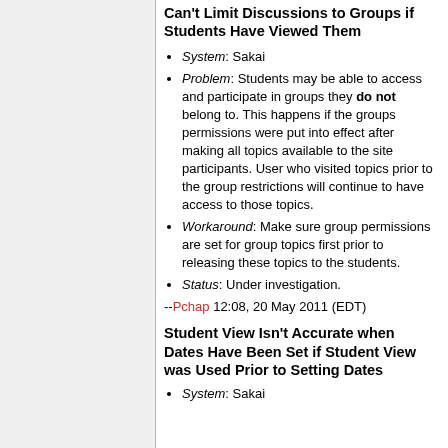Can't Limit Discussions to Groups if Students Have Viewed Them
System: Sakai
Problem: Students may be able to access and participate in groups they do not belong to. This happens if the groups permissions were put into effect after making all topics available to the site participants. User who visited topics prior to the group restrictions will continue to have access to those topics.
Workaround: Make sure group permissions are set for group topics first prior to releasing these topics to the students.
Status: Under investigation.
--Pchap 12:08, 20 May 2011 (EDT)
Student View Isn't Accurate when Dates Have Been Set if Student View was Used Prior to Setting Dates
System: Sakai